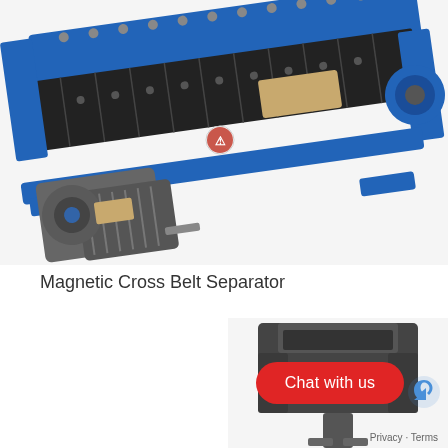[Figure (photo): Photograph of a large industrial Magnetic Cross Belt Separator machine with blue metal frame, black conveyor belt with studded plates, and a grey electric motor/gearbox unit attached at the front-left. The machine is photographed at an angle on a white background.]
Magnetic Cross Belt Separator
[Figure (photo): Partial photograph of another industrial machine, dark/grey coloured, appears to be a smaller separator or similar equipment, partially overlapped by a red chat button widget in the bottom-right area of the page.]